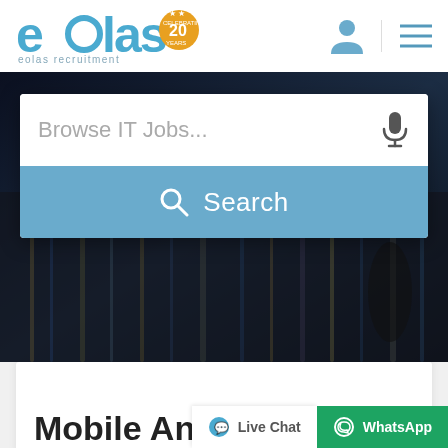[Figure (logo): Eolas Recruitment logo with '20 years celebrating' badge]
[Figure (screenshot): Website hero banner with dark blurry city lights background, search bar with 'Browse IT Jobs...' placeholder text and microphone icon, and a blue Search button]
Mobile Android Develop...
Live Chat
WhatsApp